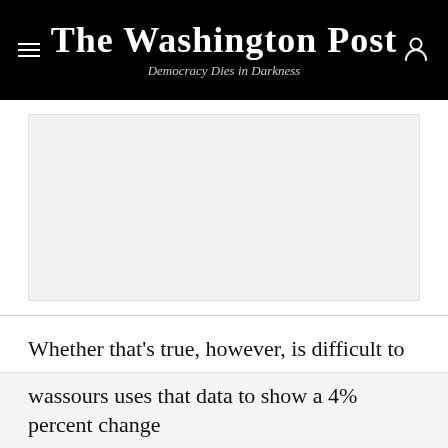The Washington Post — Democracy Dies in Darkness
[Figure (other): Advertisement placeholder box (gray rectangle)]
Whether that’s true, however, is difficult to pin down. The most recent government data comes from 2009, when the Census asked individuals whether they had received training from their employers. A forthcoming
wassours uses that data to show a 4% percent change